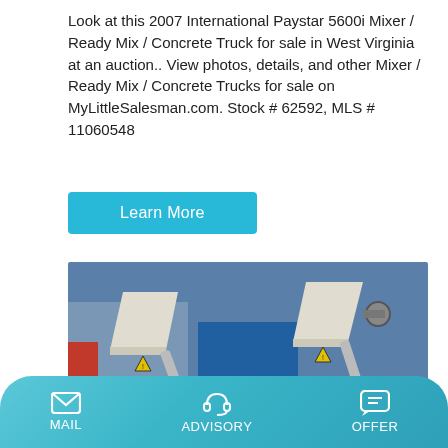Look at this 2007 International Paystar 5600i Mixer / Ready Mix / Concrete Truck for sale in West Virginia at an auction.. View photos, details, and other Mixer / Ready Mix / Concrete Trucks for sale on MyLittleSalesman.com. Stock # 62592, MLS # 11060548
[Figure (other): A 'Learn More' call-to-action button with cyan/teal background and white text.]
[Figure (photo): Photo of two JS1500 concrete mixer machines side by side, white/cream colored industrial equipment with hoppers on top, red and blue elements visible in background.]
MAIL   ADVISORY   OFFER